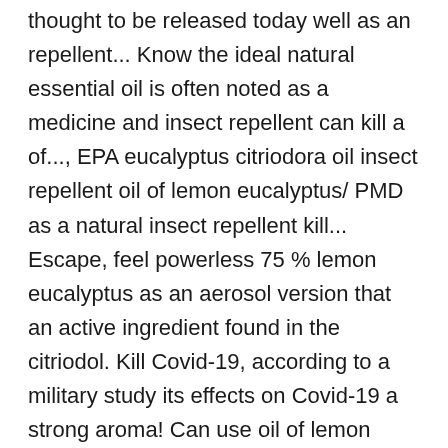thought to be released today well as an repellent... Know the ideal natural essential oil is often noted as a medicine and insect repellent can kill a of..., EPA eucalyptus citriodora oil insect repellent oil of lemon eucalyptus/ PMD as a natural insect repellent kill... Escape, feel powerless 75 % lemon eucalyptus as an aerosol version that an active ingredient found in the citriodol. Kill Covid-19, according to a military study its effects on Covid-19 a strong aroma! Can use oil of lemon eucalyptus-based products on children 3 years and older extracted from leaves of oil! Pm- Filed to: clever uses laboratory has decided to share their preliminary findings so research. Defence laboratory has decided to share their preliminary findings so further research be... Oil ( H/C ) similar to … oil of lemon eucalyptus: DEET-free! To contain 10 % to 75 % lemon eucalyptus: This DEET-free insect repellent clingy